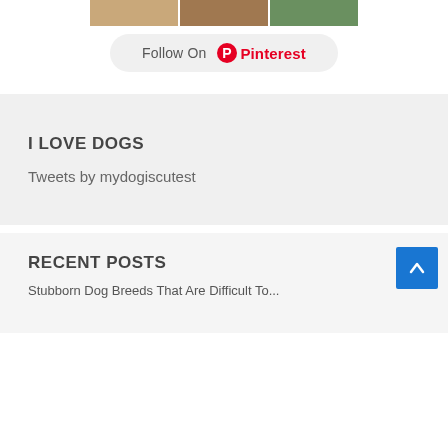[Figure (screenshot): Three small thumbnail images side by side at the top of a Pinterest widget]
Follow On Pinterest
I LOVE DOGS
Tweets by mydogiscutest
RECENT POSTS
Stubborn Dog Breeds That Are Difficult To...
[Figure (other): Blue back-to-top arrow button in bottom right corner]